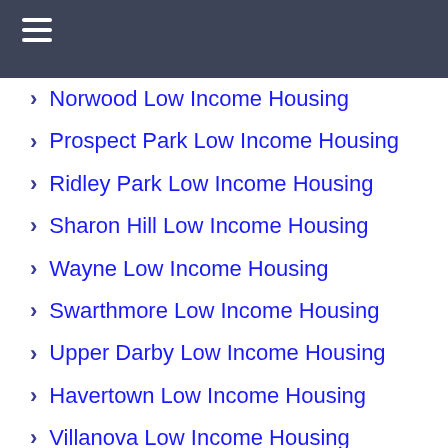Norwood Low Income Housing
Prospect Park Low Income Housing
Ridley Park Low Income Housing
Sharon Hill Low Income Housing
Wayne Low Income Housing
Swarthmore Low Income Housing
Upper Darby Low Income Housing
Havertown Low Income Housing
Villanova Low Income Housing
Wallingford Low Income Housing
Woodlyn Low Income Housing